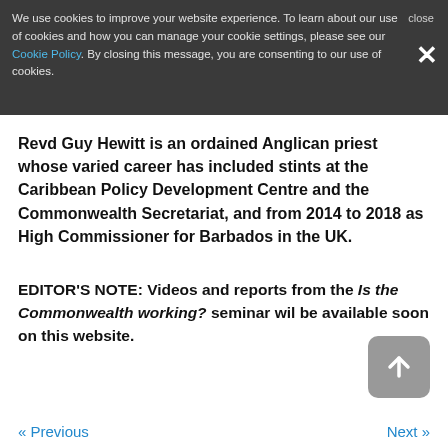We use cookies to improve your website experience. To learn about our use of cookies and how you can manage your cookie settings, please see our Cookie Policy. By closing this message, you are consenting to our use of cookies.
Revd Guy Hewitt is an ordained Anglican priest whose varied career has included stints at the Caribbean Policy Development Centre and the Commonwealth Secretariat, and from 2014 to 2018 as High Commissioner for Barbados in the UK.
EDITOR'S NOTE: Videos and reports from the Is the Commonwealth working? seminar wil be available soon on this website.
« Previous
Next »